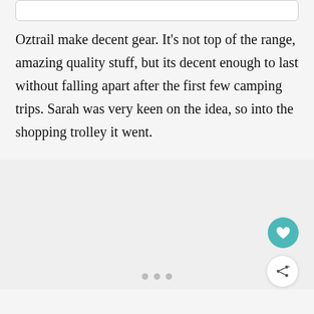Oztrail make decent gear. It’s not top of the range, amazing quality stuff, but its decent enough to last without falling apart after the first few camping trips. Sarah was very keen on the idea, so into the shopping trolley it went.
[Figure (other): Light grey image area with a heart/favourite button (teal circle with white heart icon) and a share button (white circle with share icon) on the right side]